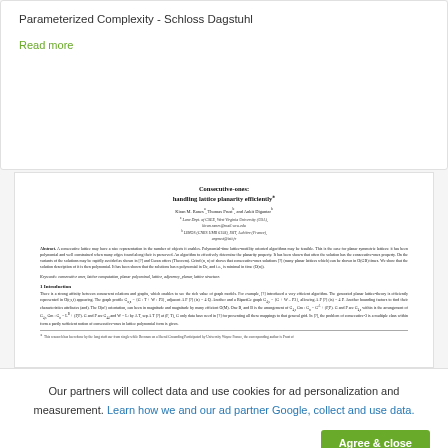Parameterized Complexity - Schloss Dagstuhl
Read more
[Figure (screenshot): Screenshot of a scientific paper titled 'Consecutive-ones: handling lattice planarity efficiently' with authors, affiliations, abstract, keywords, and beginning of introduction section.]
Our partners will collect data and use cookies for ad personalization and measurement. Learn how we and our ad partner Google, collect and use data.
Agree & close